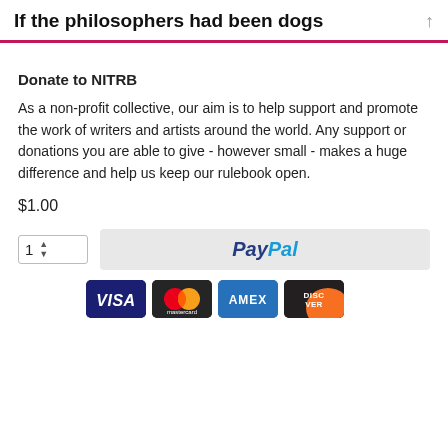If the philosophers had been dogs
Donate to NITRB
As a non-profit collective, our aim is to help support and promote the work of writers and artists around the world. Any support or donations you are able to give - however small - makes a huge difference and help us keep our rulebook open.
$1.00
[Figure (other): Quantity selector showing '1' with up/down arrows, next to a PayPal checkout button, below which are card logos: VISA, Mastercard, AMEX, DISCOVER]